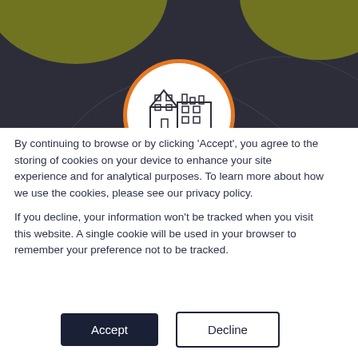[Figure (illustration): Banner image with dark gray gridded background, yellow-green wavy blobs in upper corners, and a circular white badge with orange border containing a line-art campus/building icon and the text 'Campus in the' at the bottom]
By continuing to browse or by clicking 'Accept', you agree to the storing of cookies on your device to enhance your site experience and for analytical purposes. To learn more about how we use the cookies, please see our privacy policy.
If you decline, your information won't be tracked when you visit this website. A single cookie will be used in your browser to remember your preference not to be tracked.
Accept
Decline